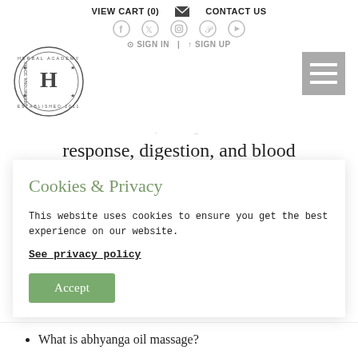VIEW CART (0)  CONTACT US
[Figure (logo): Herbal Academy International School circular stamp logo with H in center]
response, digestion, and blood
Cookies & Privacy
This website uses cookies to ensure you get the best experience on our website.
See privacy policy
Accept
What is abhyanga oil massage?